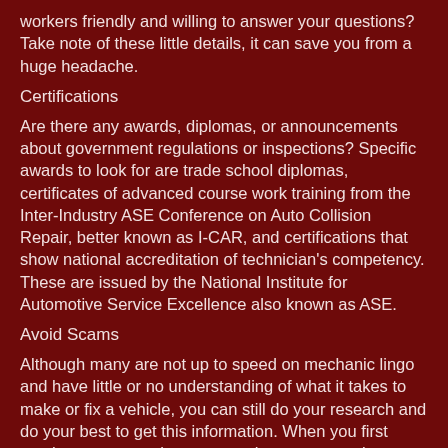workers friendly and willing to answer your questions? Take note of these little details, it can save you from a huge headache.
Certifications
Are there any awards, diplomas, or announcements about government regulations or inspections? Specific awards to look for are trade school diplomas, certificates of advanced course work training from the Inter-Industry ASE Conference on Auto Collision Repair, better known as I-CAR, and certifications that show national accreditation of technician's competency. These are issued by the National Institute for Automotive Service Excellence also known as ASE.
Avoid Scams
Although many are not up to speed on mechanic lingo and have little or no understanding of what it takes to make or fix a vehicle, you can still do your research and do your best to get this information. When you first purchase your car, learn as much as you can about your make and model so that you